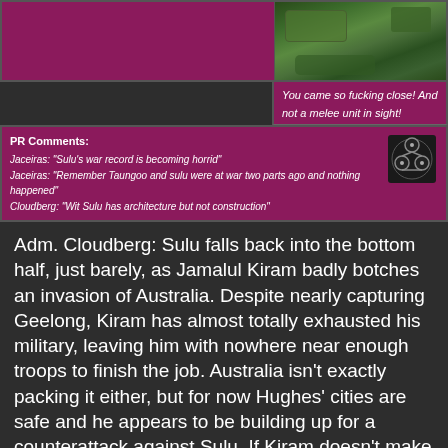[Figure (screenshot): Top section showing a purple/maroon panel on the left and a game screenshot (map view) on the right with green terrain]
You came so fucking close! And not a melee unit in sight!
PR Comments:
Jaceiras: "Sulu's war record is becoming horrid"
Jaceiras: "Remember Taungoo and sulu were at war two parts ago and nothing happened"
Cloudberg: "Wit Sulu has architecture but not construction"
Adm. Cloudberg: Sulu falls back into the bottom half, just barely, as Jamalul Kiram badly botches an invasion of Australia. Despite nearly capturing Geelong, Kiram has almost totally exhausted his military, leaving him with nowhere near enough troops to finish the job. Australia isn't exactly packing it either, but for now Hughes' cities are safe and he appears to be building up for a counterattack against Sulu. If Kiram doesn't make peace soon, his war could backfire in his face very easily.
Shaggy: Not much from the Nazca this part, to the point that u/AutisticNotWeird actually had to go out of their way to mention them and how little they did this part. Nazca gains 2 ranks this part more through the falling ranks of